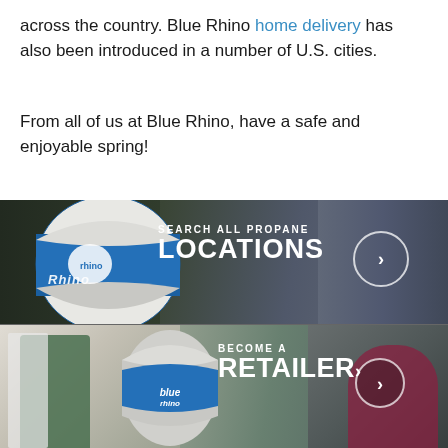across the country. Blue Rhino home delivery has also been introduced in a number of U.S. cities.
From all of us at Blue Rhino, have a safe and enjoyable spring!
[Figure (photo): Blue Rhino propane tank kiosk with text overlay: SEARCH ALL PROPANE LOCATIONS, with a right-arrow circle button, against a background showing a grill area]
[Figure (photo): Store employee in green apron holding Blue Rhino propane tank next to a woman, with text overlay: BECOME A RETAILER, with a right-arrow circle button]